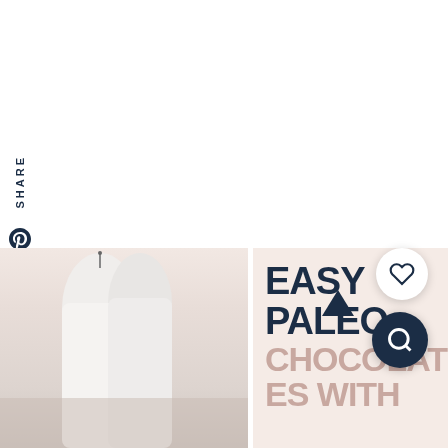SHARE
[Figure (illustration): Vertical sidebar with SHARE label and social media icons: Pinterest, Facebook, Twitter, Yummly, Email]
[Figure (photo): White chocolate or candle shapes on light peachy-pink background, bottom left of page]
EASY PALEO CHOCOLATES WITH
[Figure (illustration): Heart icon button (white circle) and search icon button (dark navy circle) on right side]